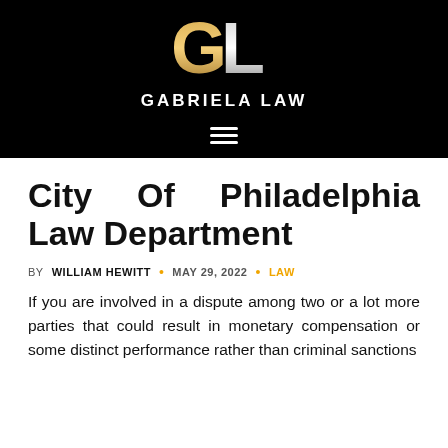GABRIELA LAW
City Of Philadelphia Law Department
BY WILLIAM HEWITT · MAY 29, 2022 · LAW
If you are involved in a dispute among two or a lot more parties that could result in monetary compensation or some distinct performance rather than criminal sanctions